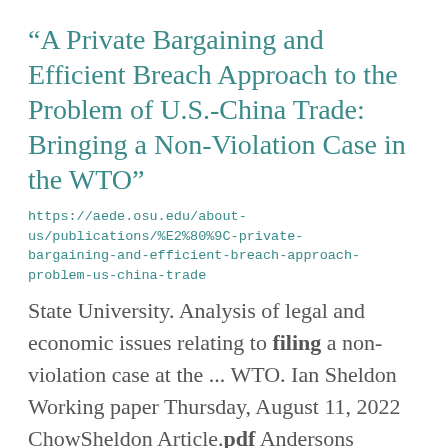“A Private Bargaining and Efficient Breach Approach to the Problem of U.S.-China Trade: Bringing a Non-Violation Case in the WTO”
https://aede.osu.edu/about-us/publications/%E2%80%9C-private-bargaining-and-efficient-breach-approach-problem-us-china-trade
State University. Analysis of legal and economic issues relating to filing a non-violation case at the ... WTO. Ian Sheldon Working paper Thursday, August 11, 2022 ChowSheldon Article.pdf Andersons Program in ...